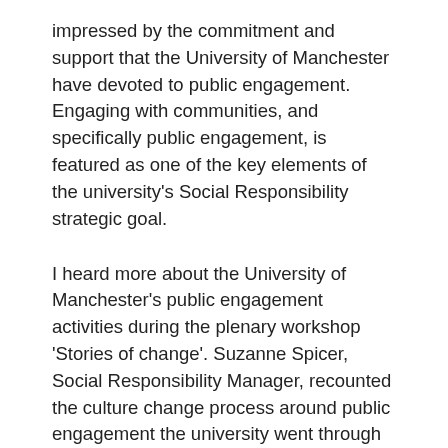impressed by the commitment and support that the University of Manchester have devoted to public engagement. Engaging with communities, and specifically public engagement, is featured as one of the key elements of the university's Social Responsibility strategic goal.
I heard more about the University of Manchester's public engagement activities during the plenary workshop 'Stories of change'. Suzanne Spicer, Social Responsibility Manager, recounted the culture change process around public engagement the university went through over the past 10 years, which was exemplified by an image of a rollercoaster. It was a bumpy ride, but they learnt the importance of periodically stopping to reflect and acknowledge at which point of the rollercoaster you're in. Most importantly, Suzanne emphasized that culture change around public